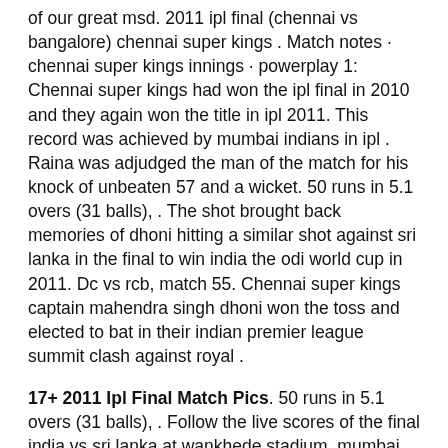of our great msd. 2011 ipl final (chennai vs bangalore) chennai super kings . Match notes · chennai super kings innings · powerplay 1: Chennai super kings had won the ipl final in 2010 and they again won the title in ipl 2011. This record was achieved by mumbai indians in ipl . Raina was adjudged the man of the match for his knock of unbeaten 57 and a wicket. 50 runs in 5.1 overs (31 balls), . The shot brought back memories of dhoni hitting a similar shot against sri lanka in the final to win india the odi world cup in 2011. Dc vs rcb, match 55. Chennai super kings captain mahendra singh dhoni won the toss and elected to bat in their indian premier league summit clash against royal .
17+ 2011 Ipl Final Match Pics. 50 runs in 5.1 overs (31 balls), . Follow the live scores of the final india vs sri lanka at wankhede stadium, mumbai. This is ipl final match where in first over ashwin has taken wicket of